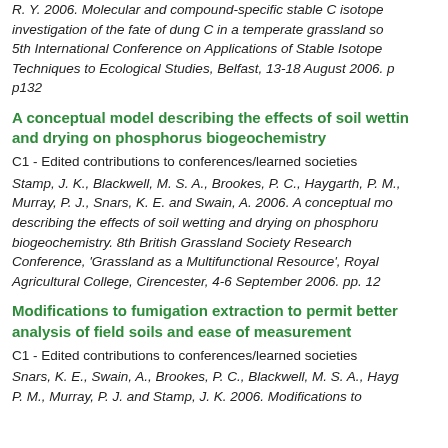R. Y. 2006. Molecular and compound-specific stable C isotope investigation of the fate of dung C in a temperate grassland so 5th International Conference on Applications of Stable Isotope Techniques to Ecological Studies, Belfast, 13-18 August 2006. p p132
A conceptual model describing the effects of soil wetting and drying on phosphorus biogeochemistry
C1 - Edited contributions to conferences/learned societies
Stamp, J. K., Blackwell, M. S. A., Brookes, P. C., Haygarth, P. M., Murray, P. J., Snars, K. E. and Swain, A. 2006. A conceptual mo describing the effects of soil wetting and drying on phosphorus biogeochemistry. 8th British Grassland Society Research Conference, 'Grassland as a Multifunctional Resource', Royal Agricultural College, Cirencester, 4-6 September 2006. pp. 12
Modifications to fumigation extraction to permit better analysis of field soils and ease of measurement
C1 - Edited contributions to conferences/learned societies
Snars, K. E., Swain, A., Brookes, P. C., Blackwell, M. S. A., Hayg P. M., Murray, P. J. and Stamp, J. K. 2006. Modifications to